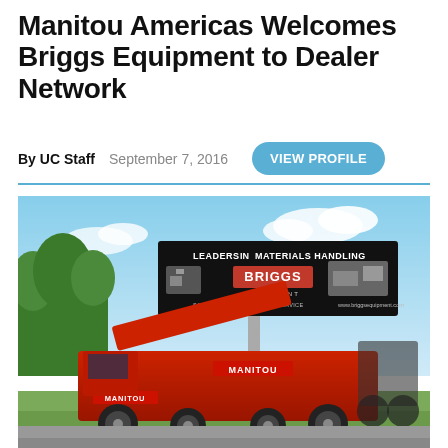Manitou Americas Welcomes Briggs Equipment to Dealer Network
By UC Staff   September 7, 2016   VIEW PROFILE
[Figure (photo): Outdoor photograph showing red Manitou telehandler/boom lift equipment parked in front of a large Briggs Equipment billboard. The billboard reads 'LEADERS IN MATERIALS HANDLING' and 'BRIGGS EQUIPMENT' with 'SALES · RENTALS · PARTS & SERVICE  www.briggsequipment.com'. The sky is partly cloudy with trees visible.]